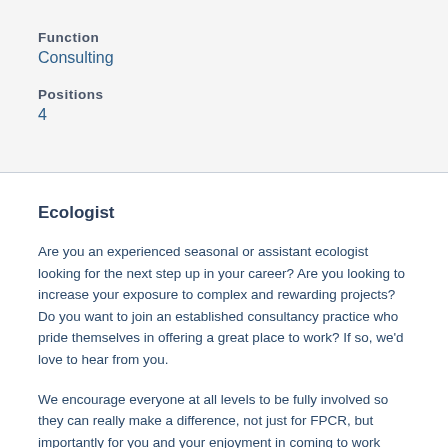Function
Consulting
Positions
4
Ecologist
Are you an experienced seasonal or assistant ecologist looking for the next step up in your career? Are you looking to increase your exposure to complex and rewarding projects? Do you want to join an established consultancy practice who pride themselves in offering a great place to work? If so, we'd love to hear from you.
We encourage everyone at all levels to be fully involved so they can really make a difference, not just for FPCR, but importantly for you and your enjoyment in coming to work